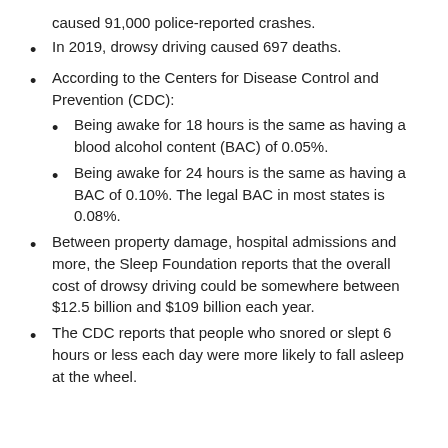caused 91,000 police-reported crashes.
In 2019, drowsy driving caused 697 deaths.
According to the Centers for Disease Control and Prevention (CDC):
Being awake for 18 hours is the same as having a blood alcohol content (BAC) of 0.05%.
Being awake for 24 hours is the same as having a BAC of 0.10%. The legal BAC in most states is 0.08%.
Between property damage, hospital admissions and more, the Sleep Foundation reports that the overall cost of drowsy driving could be somewhere between $12.5 billion and $109 billion each year.
The CDC reports that people who snored or slept 6 hours or less each day were more likely to fall asleep at the wheel.